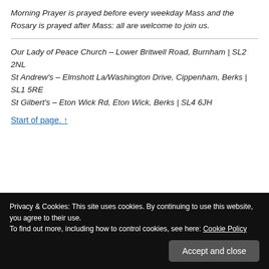Morning Prayer is prayed before every weekday Mass and the Rosary is prayed after Mass: all are welcome to join us.
Our Lady of Peace Church – Lower Britwell Road, Burnham | SL2 2NL
St Andrew's – Elmshott La/Washington Drive, Cippenham, Berks | SL1 5RE
St Gilbert's – Eton Wick Rd, Eton Wick, Berks | SL4 6JH
Start of page. ↑
Privacy & Cookies: This site uses cookies. By continuing to use this website, you agree to their use.
To find out more, including how to control cookies, see here: Cookie Policy